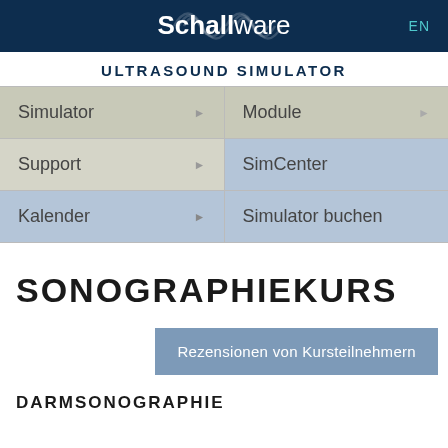Schallware EN
ULTRASOUND SIMULATOR
| Simulator | Module |
| Support | SimCenter |
| Kalender | Simulator buchen |
SONOGRAPHIEKURS
Rezensionen von Kursteilnehmern
DARMSONOGRAPHIE